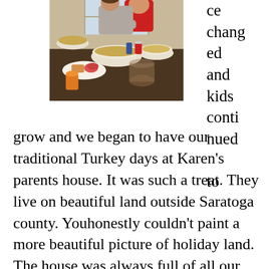[Figure (photo): People sitting around a dining table covered with Thanksgiving food dishes including bowls of stuffing, mac and cheese, plates with food, and drinks. A person in a red shirt is visible being held by another person.]
ce changed and kids continued to grow and we began to have our traditional Turkey days at Karen's parents house. It was such a treat. They live on beautiful land outside Saratoga county. Youhonestly couldn't paint a more beautiful picture of holiday land. The house was always full of all our favorite treats and every meal was a chance to sit and visit between indoor and outdoor adventures in a landscape carved carefully by nature and man